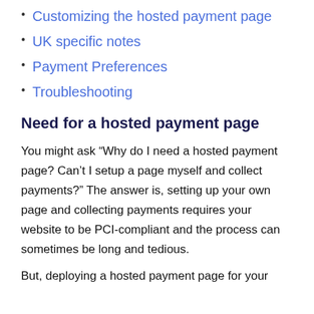Customizing the hosted payment page
UK specific notes
Payment Preferences
Troubleshooting
Need for a hosted payment page
You might ask “Why do I need a hosted payment page? Can’t I setup a page myself and collect payments?” The answer is, setting up your own page and collecting payments requires your website to be PCI-compliant and the process can sometimes be long and tedious.
But, deploying a hosted payment page for your